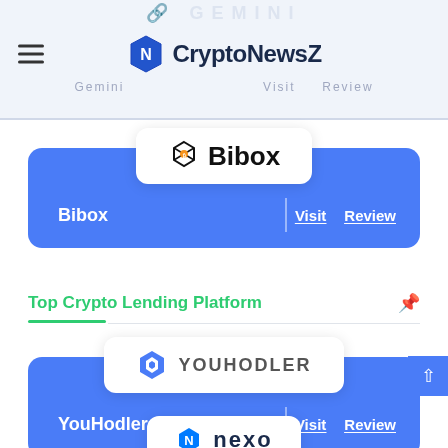CryptoNewsZ
[Figure (logo): Bibox logo with hexagon icon and bold Bibox text]
Bibox | Visit  Review
Top Crypto Lending Platform
[Figure (logo): YouHodler logo with geometric Y icon]
YouHodler | Visit  Review
[Figure (logo): Nexo logo with N icon and nexo text]